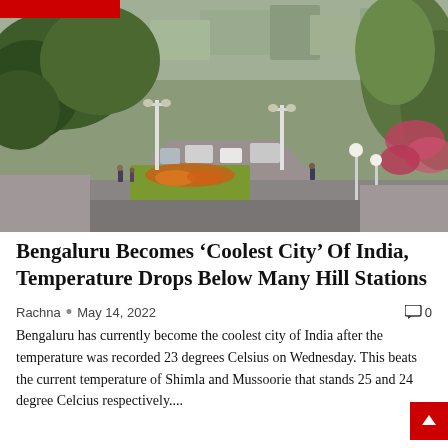[Figure (photo): Street view of Bengaluru showing a wide road with traffic, lush green trees on both sides, flowering plants in a median/roundabout, buildings visible in the background, overcast sky]
Bengaluru Becomes ‘Coolest City’ Of India, Temperature Drops Below Many Hill Stations
Rachna • May 14, 2022   💬 0
Bengaluru has currently become the coolest city of India after the temperature was recorded 23 degrees Celsius on Wednesday. This beats the current temperature of Shimla and Mussoorie that stands 25 and 24 degree Celcius respectively....